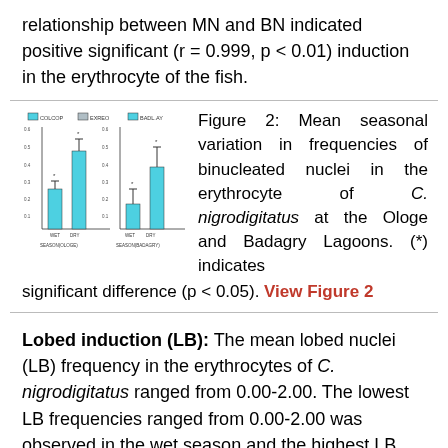relationship between MN and BN indicated positive significant (r = 0.999, p < 0.01) induction in the erythrocyte of the fish.
[Figure (bar-chart): Bar chart showing mean seasonal variation in frequencies of binucleated nuclei in erythrocyte of C. nigrodigitatus at Ologe and Badagry Lagoons with error bars.]
Figure 2: Mean seasonal variation in frequencies of binucleated nuclei in the erythrocyte of C. nigrodigitatus at the Ologe and Badagry Lagoons. (*) indicates significant difference (p < 0.05). View Figure 2
Lobed induction (LB): The mean lobed nuclei (LB) frequency in the erythrocytes of C. nigrodigitatus ranged from 0.00-2.00. The lowest LB frequencies ranged from 0.00-2.00 was observed in the wet season and the highest LB frequency ranged from 0.0-2.00 in Ologe lagoon. The lowest LB frequencies ranged from 0.00-2.00 was observed